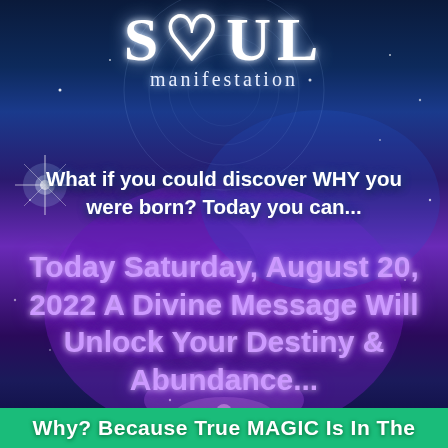[Figure (illustration): Soul Manifestation branded advertisement with cosmic/galaxy background featuring deep blue and purple nebula colors, mandala geometric pattern in background, starburst light effect on left side.]
SOUL manifestation
What if you could discover WHY you were born? Today you can...
Today Saturday, August 20, 2022 A Divine Message Will Unlock Your Destiny & Abundance...
Why? Because True MAGIC Is In The